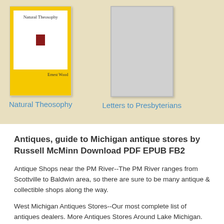[Figure (illustration): Book cover for 'Natural Theosophy' by Ernest Wood - yellow cover with white inner panel showing title and a small red icon]
Natural Theosophy
[Figure (illustration): Book cover placeholder for 'Letters to Presbyterians' - grey/silver cover]
Letters to Presbyterians
Antiques, guide to Michigan antique stores by Russell McMinn Download PDF EPUB FB2
Antique Shops near the PM River--The PM River ranges from Scottville to Baldwin area, so there are sure to be many antique & collectible shops along the way.
West Michigan Antiques Stores--Our most complete list of antiques dealers. More Antiques Stores Around Lake Michigan. Antiques Shops